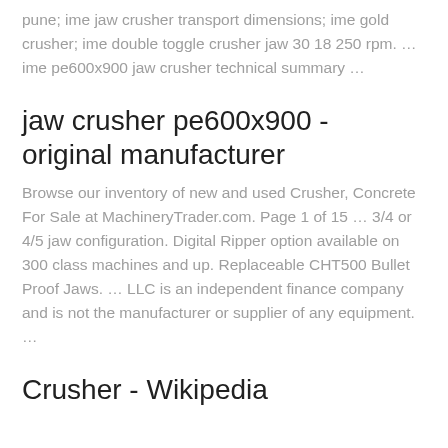pune; ime jaw crusher transport dimensions; ime gold crusher; ime double toggle crusher jaw 30 18 250 rpm. … ime pe600x900 jaw crusher technical summary …
jaw crusher pe600x900 - original manufacturer
Browse our inventory of new and used Crusher, Concrete For Sale at MachineryTrader.com. Page 1 of 15 … 3/4 or 4/5 jaw configuration. Digital Ripper option available on 300 class machines and up. Replaceable CHT500 Bullet Proof Jaws. … LLC is an independent finance company and is not the manufacturer or supplier of any equipment. …
Crusher - Wikipedia